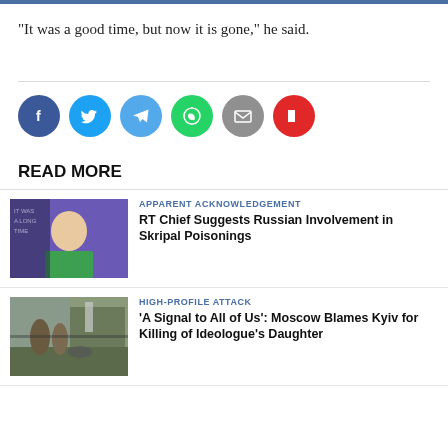"It was a good time, but now it is gone," he said.
[Figure (infographic): Social share buttons: Facebook (dark blue), Twitter (blue), Telegram (light blue), WhatsApp (green), Email (grey), Flipboard (red)]
READ MORE
[Figure (photo): Woman in green jacket at press conference with purple background]
APPARENT ACKNOWLEDGEMENT
RT Chief Suggests Russian Involvement in Skripal Poisonings
[Figure (photo): Street scene with people near damaged road/vehicles]
HIGH-PROFILE ATTACK
'A Signal to All of Us': Moscow Blames Kyiv for Killing of Ideologue's Daughter